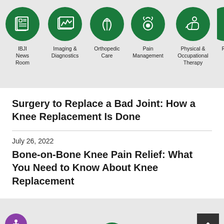[Figure (infographic): Navigation bar with green circular icons for: IBJI News Room, Imaging & Diagnostics, Orthopedic Care, Pain Management, Physical & Occupational Therapy, and a partially visible sixth icon]
Surgery to Replace a Bad Joint: How a Knee Replacement Is Done
July 26, 2022
Bone-on-Bone Knee Pain Relief: What You Need to Know About Knee Replacement
[Figure (infographic): Bottom grey bar with purple accessibility icon (person in circle), partially visible green circle logo, and dark scroll-to-top button with up chevron]